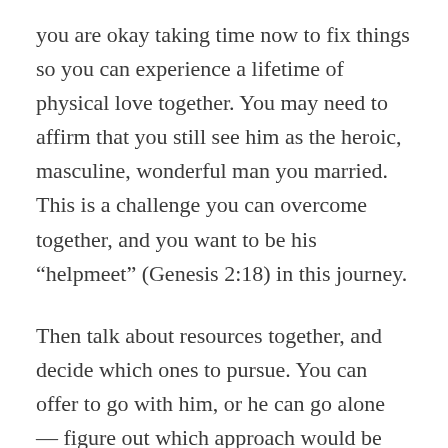you are okay taking time now to fix things so you can experience a lifetime of physical love together. You may need to affirm that you still see him as the heroic, masculine, wonderful man you married. This is a challenge you can overcome together, and you want to be his “helpmeet” (Genesis 2:18) in this journey.
Then talk about resources together, and decide which ones to pursue. You can offer to go with him, or he can go alone — figure out which approach would be best and more easy for him to do. There are many confidential options you can consider. He might even be more comfortable seeking medical or psychological help across town. But note that psychologists and counselors will not reveal to others why they are seeing you, so if he